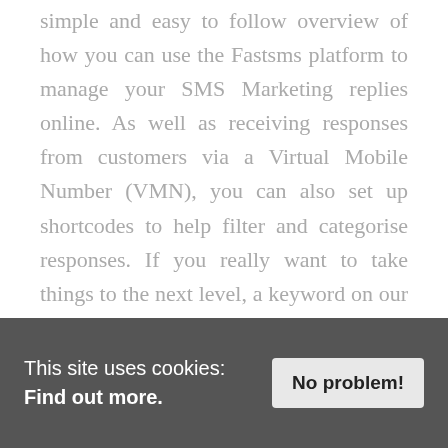simple and easy to follow overview of how you can use the Fastsms platform to manage your SMS Marketing replies online. As well as receiving responses from customers via a Virtual Mobile Number (VMN), you can also set up shortcodes to help filter and categorise responses. If you really want to take things to the next level, a keyword on our dedicated shortcode can unlock even more opportunities and help to build a campaign that integrates across your entire marketing strategy. Want to learn more? Check out the infographic
This site uses cookies: Find out more.